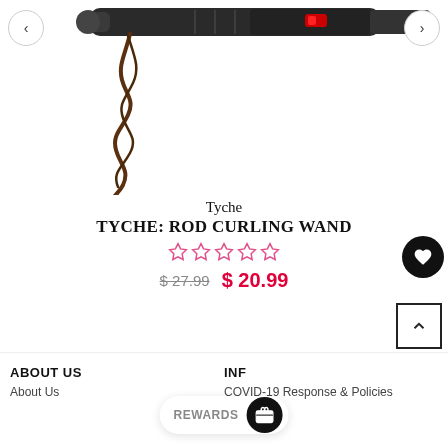[Figure (photo): A curling wand / rod curling iron product photo showing the barrel of the iron at the top with a red on/off switch, and a curled strand of brown hair hanging below it. Navigation arrows (< and >) on either side for product image carousel.]
Tyche
TYCHE: ROD CURLING WAND
☆☆☆☆☆ (5 empty stars, pink)
$ 27.99  $ 20.99
ABOUT US
About Us
INF
COVID-19 Response & Policies